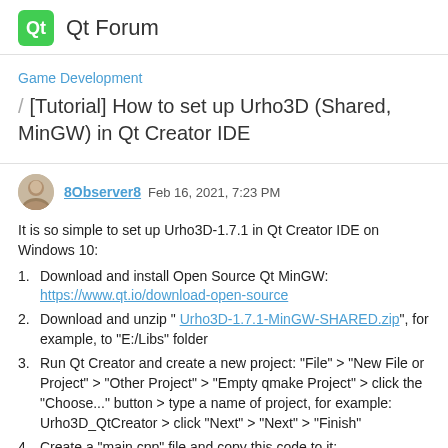Qt Forum
Game Development
[Tutorial] How to set up Urho3D (Shared, MinGW) in Qt Creator IDE
8Observer8  Feb 16, 2021, 7:23 PM
It is so simple to set up Urho3D-1.7.1 in Qt Creator IDE on Windows 10:
1. Download and install Open Source Qt MinGW: https://www.qt.io/download-open-source
2. Download and unzip " Urho3D-1.7.1-MinGW-SHARED.zip", for example, to "E:/Libs" folder
3. Run Qt Creator and create a new project: "File" > "New File or Project" > "Other Project" > "Empty qmake Project" > click the "Choose..." button > type a name of project, for example: Urho3D_QtCreator > click "Next" > "Next" > "Finish"
4. Create a "main.cpp" file and copy this code to it: